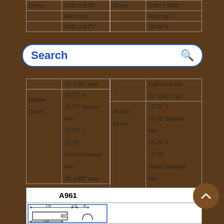| Doors | 8.75" x 8.75" | Doors | 9.88" x 9.88" |
|  | Arch min |  | Arch min |
|  | 9.25" x 9.25" |  | 10.38" x |
[Figure (screenshot): Search bar with blue border and magnifying glass icon]
|  | 31" x 60" max |  | Cathedral min |
|  |  |  | 31" x 60" max |
| Mullion Doors | 11.25" x 11.25" Square min
12.25" x 12.25"
Arch/Cathedral min
31" x 60" max | Mullion Doors | 12.75" x 12.75" Square min
13.75" x 13.75"
Arch/Cathedral min
31" x 60" max |
A961
[Figure (engineering-diagram): Cross-section profile diagram with dimensions: 2.55, 0.20, .85, 2.00]